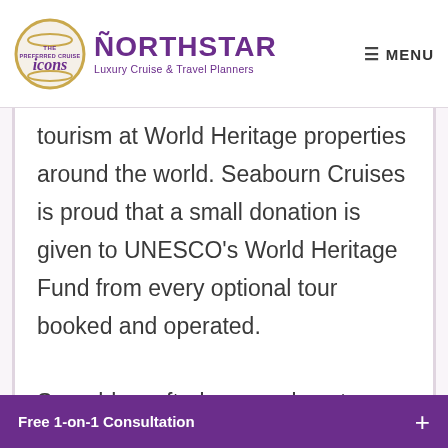[Figure (logo): Northstar Luxury Cruise & Travel Planners logo with icons badge and purple brand name]
tourism at World Heritage properties around the world. Seabourn Cruises is proud that a small donation is given to UNESCO's World Heritage Fund from every optional tour booked and operated.

Superbly crafted pre- and post-cruise extensions explore treasured
Free 1-on-1 Consultation